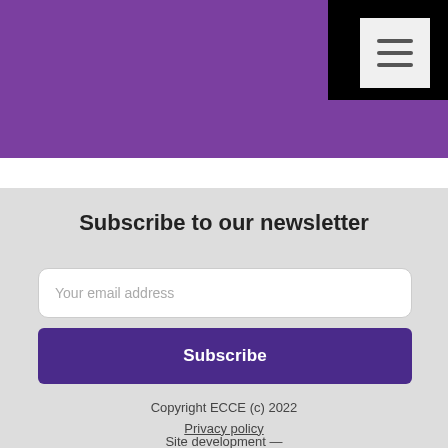[Figure (screenshot): Purple banner header with black overlay in top-right corner and a hamburger menu button]
Subscribe to our newsletter
Your email address
Subscribe
Copyright ECCE (c) 2022
Privacy policy

Site development —
Undersky